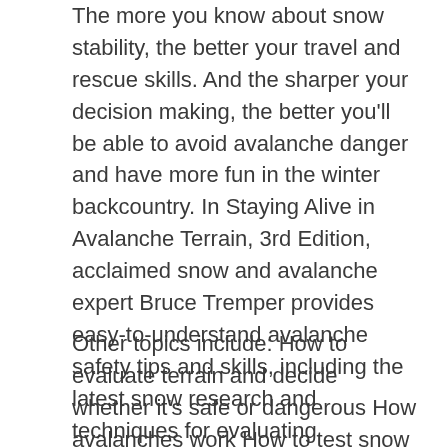The more you know about snow stability, the better your travel and rescue skills. And the sharper your decision making, the better you'll be able to avoid avalanche danger and have more fun in the winter backcountry. In Staying Alive in Avalanche Terrain, 3rd Edition, acclaimed snow and avalanche expert Bruce Tremper provides easy-to-understand avalanche safety tips and skills, including the latest snow research and techniques for evaluating snowpack, as well how to rescue companions in the event of an avalanche.
Other topics include: How to evaluate terrain and decide whether it's safe or dangerous How avalanches work How to test snow stability How to control your exposure and lower your risk Safe travel techniques What to do if you're caught in an avalanche Search-and-rescue strategies Managing the human factors that contribute to accidents This fully revised and updated third edition of Tremper...